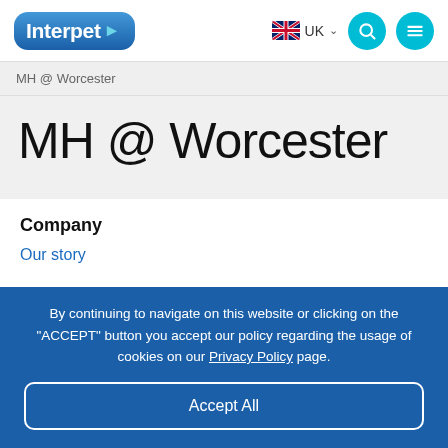[Figure (logo): Interpet logo — blue pill-shaped badge with white text 'Interpet' and a fish icon]
UK
MH @ Worcester
MH @ Worcester
Company
Our story
By continuing to navigate on this website or clicking on the "ACCEPT" button you accept our policy regarding the usage of cookies on our Privacy Policy page.
Accept All